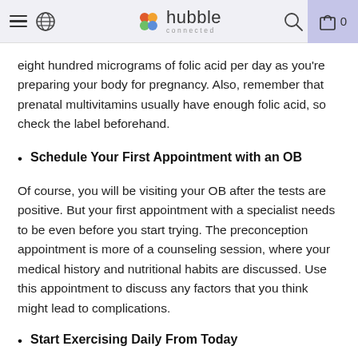Hubble Connected — navigation header
eight hundred micrograms of folic acid per day as you're preparing your body for pregnancy. Also, remember that prenatal multivitamins usually have enough folic acid, so check the label beforehand.
Schedule Your First Appointment with an OB
Of course, you will be visiting your OB after the tests are positive. But your first appointment with a specialist needs to be even before you start trying. The preconception appointment is more of a counseling session, where your medical history and nutritional habits are discussed. Use this appointment to discuss any factors that you think might lead to complications.
Start Exercising Daily From Today